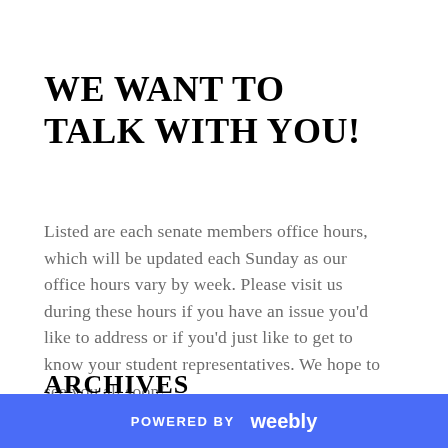WE WANT TO TALK WITH YOU!
Listed are each senate members office hours, which will be updated each Sunday as our office hours vary by week. Please visit us during these hours if you have an issue you'd like to address or if you'd just like to get to know your student representatives. We hope to see you all soon!
ARCHIVES
POWERED BY weebly